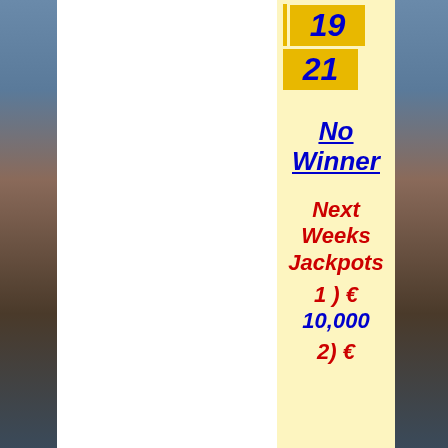[Figure (photo): Background photo of sports stadium/pitch with crowd, split by a white central column and a light yellow panel on the right side.]
19
21
No Winner
Next Weeks Jackpots
1 ) € 10,000
2) €